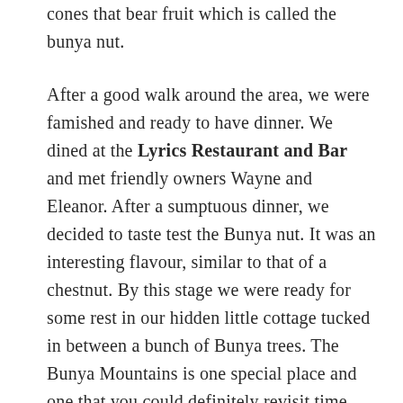cones that bear fruit which is called the bunya nut.
After a good walk around the area, we were famished and ready to have dinner. We dined at the Lyrics Restaurant and Bar and met friendly owners Wayne and Eleanor. After a sumptuous dinner, we decided to taste test the Bunya nut. It was an interesting flavour, similar to that of a chestnut. By this stage we were ready for some rest in our hidden little cottage tucked in between a bunch of Bunya trees. The Bunya Mountains is one special place and one that you could definitely revisit time and time again.